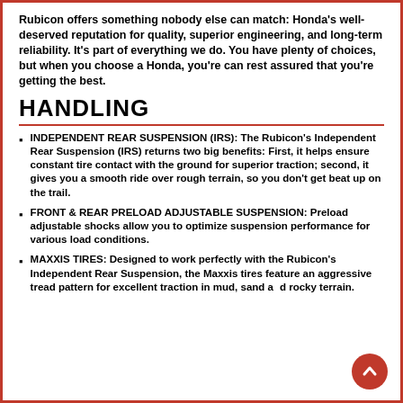Rubicon offers something nobody else can match: Honda's well-deserved reputation for quality, superior engineering, and long-term reliability. It's part of everything we do. You have plenty of choices, but when you choose a Honda, you're can rest assured that you're getting the best.
HANDLING
INDEPENDENT REAR SUSPENSION (IRS): The Rubicon's Independent Rear Suspension (IRS) returns two big benefits: First, it helps ensure constant tire contact with the ground for superior traction; second, it gives you a smooth ride over rough terrain, so you don't get beat up on the trail.
FRONT & REAR PRELOAD ADJUSTABLE SUSPENSION: Preload adjustable shocks allow you to optimize suspension performance for various load conditions.
MAXXIS TIRES: Designed to work perfectly with the Rubicon's Independent Rear Suspension, the Maxxis tires feature an aggressive tread pattern for excellent traction in mud, sand and rocky terrain.